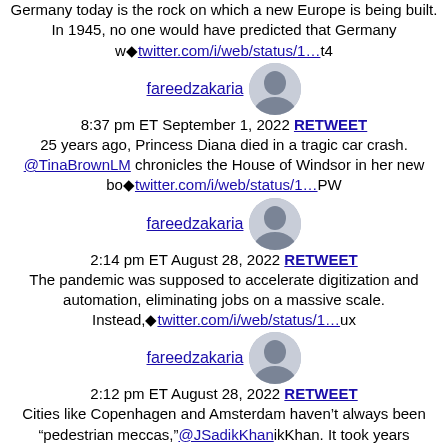Germany today is the rock on which a new Europe is being built. In 1945, no one would have predicted that Germany w◆twitter.com/i/web/status/1…t4
[Figure (photo): Profile photo of fareedzakaria]
fareedzakaria
8:37 pm ET September 1, 2022 RETWEET
25 years ago, Princess Diana died in a tragic car crash. @TinaBrownLM chronicles the House of Windsor in her new bo◆twitter.com/i/web/status/1…PW
[Figure (photo): Profile photo of fareedzakaria]
fareedzakaria
2:14 pm ET August 28, 2022 RETWEET
The pandemic was supposed to accelerate digitization and automation, eliminating jobs on a massive scale. Instead,◆twitter.com/i/web/status/1…ux
[Figure (photo): Profile photo of fareedzakaria]
fareedzakaria
2:12 pm ET August 28, 2022 RETWEET
Cities like Copenhagen and Amsterdam haven't always been "pedestrian meccas," @JSadikKhanikKhan. It took years ottwitter.com/i/web/status/1…3LZ5soGV
[Figure (photo): Profile photo of fareedzakaria]
fareedzakaria
2:10 pm ET August 28, 2022 RETWEET
Is the Iran nuclear deal on the brink of being revived? What would